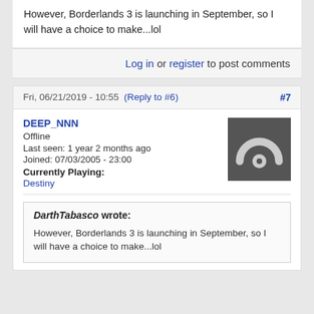However, Borderlands 3 is launching in September, so I will have a choice to make...lol
Log in or register to post comments
Fri, 06/21/2019 - 10:55 (Reply to #6) #7
DEEP_NNN
Offline
Last seen: 1 year 2 months ago
Joined: 07/03/2005 - 23:00
Currently Playing:
Destiny
[Figure (illustration): Grey square avatar icon with white WiFi/broadcast arc symbol and circle]
DarthTabasco wrote:
However, Borderlands 3 is launching in September, so I will have a choice to make...lol